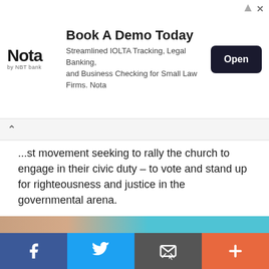[Figure (other): Advertisement banner for Nota by NBT Bank. Headline: 'Book A Demo Today'. Body: 'Streamlined IOLTA Tracking, Legal Banking, and Business Checking for Small Law Firms. Nota'. Includes Nota logo and Open button.]
...st movement seeking to rally the church to engage in their civic duty – to vote and stand up for righteousness and justice in the governmental arena.
Hold the Line is focused on engaging with the church and young people across the country in a way that charges them to play an active role as citizens of this nation. The movement aims to inform, educate, and inspire the next generation of leaders to take a stand for what is right. Sean Feucht's Hold The Line Podcast tackles the issues facing our nation today, as well as issues that may impact life tomorrow and for years to come.
[Figure (photo): Partial image strip at the bottom of the article content area, showing a person and a teal/blue color block.]
[Figure (other): Social share bar with four buttons: Facebook (blue), Twitter (light blue), Email/share (dark gray), and More/plus (orange-red).]